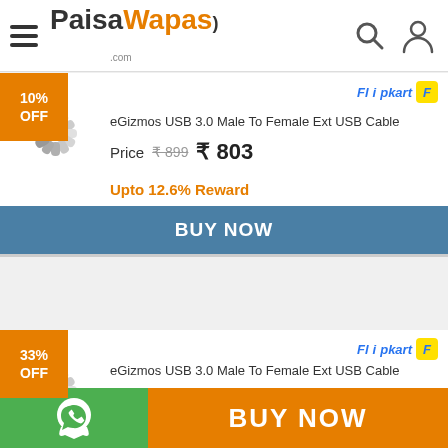PaisaWapas.com
[Figure (infographic): Product card with 10% OFF badge, loading spinner image placeholder, Flipkart logo, product title 'eGizmos USB 3.0 Male To Female Ext USB Cable', price ₹899 struck through and ₹803, Upto 12.6% Reward text, BUY NOW button]
[Figure (infographic): Product card with 33% OFF badge, loading spinner image placeholder, Flipkart logo, product title 'eGizmos USB 3.0 Male To Female Ext USB Cable', price ₹899 struck through and ₹599]
[Figure (infographic): Bottom bar with WhatsApp icon on green background and BUY NOW on orange background]